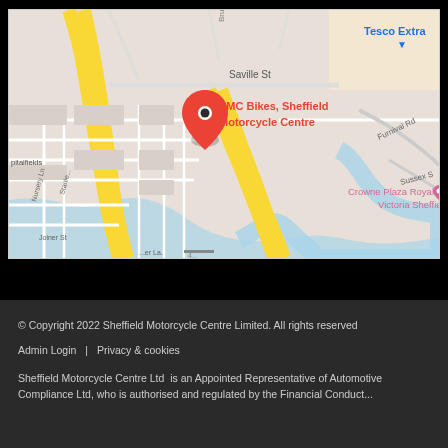[Figure (map): Google Maps screenshot showing SMC Bikes, Sheffield Motorcycle Centre location pin on a street map. Nearby landmarks include Tesco Extra (top right), Crowne Plaza Royal Victoria Sheffield (bottom center-right), Saville St, Furnival Rd, Sussex St, Nursery Ln, Joiner St streets visible.]
© Copyright 2022 Sheffield Motorcycle Centre Limited. All rights reserved
Admin Login  |  Privacy & cookies
Sheffield Motorcycle Centre Ltd  is an Appointed Representative of Automotive Compliance Ltd, who is authorised and regulated by the Financial Conduct...